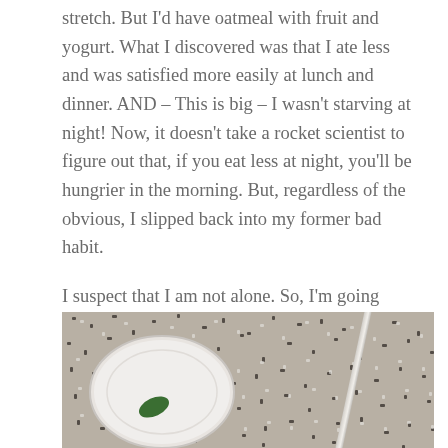stretch. But I'd have oatmeal with fruit and yogurt. What I discovered was that I ate less and was satisfied more easily at lunch and dinner. AND – This is big – I wasn't starving at night! Now, it doesn't take a rocket scientist to figure out that, if you eat less at night, you'll be hungrier in the morning. But, regardless of the obvious, I slipped back into my former bad habit.
I suspect that I am not alone. So, I'm going public with my intent to change my evil ways. This is my current idea of breakfast (and that's on a GOOD day):
[Figure (photo): A close-up photo of a white plate on a speckled granite countertop. The plate has a small green food item (possibly a lime wedge or single piece of food) on it. A utensil is visible to the right. The countertop has a black and white speckled granite pattern.]